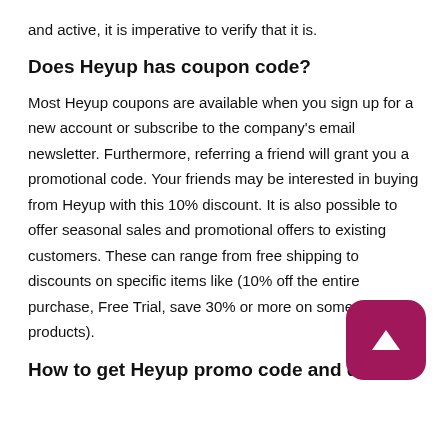and active, it is imperative to verify that it is.
Does Heyup has coupon code?
Most Heyup coupons are available when you sign up for a new account or subscribe to the company's email newsletter. Furthermore, referring a friend will grant you a promotional code. Your friends may be interested in buying from Heyup with this 10% discount. It is also possible to offer seasonal sales and promotional offers to existing customers. These can range from free shipping to discounts on specific items like (10% off the entire purchase, Free Trial, save 30% or more on some products).
How to get Heyup promo code and deals?